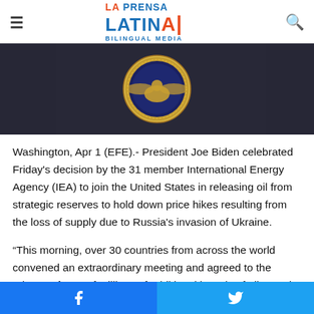La Prensa Latina Bilingual Media
[Figure (photo): Dark background with Presidential Seal (gold/yellow circular emblem) visible in center, appears to be a press briefing or official event backdrop]
Washington, Apr 1 (EFE).- President Joe Biden celebrated Friday's decision by the 31 member International Energy Agency (IEA) to join the United States in releasing oil from strategic reserves to hold down price hikes resulting from the loss of supply due to Russia's invasion of Ukraine.
“This morning, over 30 countries from across the world convened an extraordinary meeting and agreed to the release of tens of millions of additional barrels of oil onto the market,"
Facebook share | Twitter share